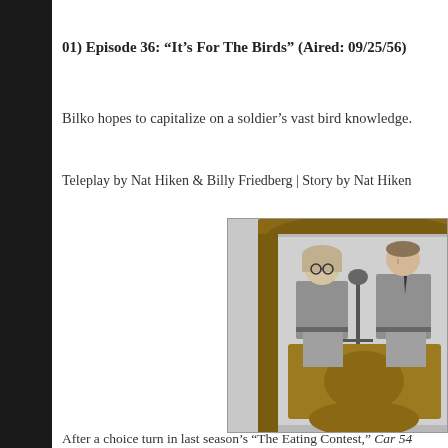01) Episode 36: “It’s For The Birds” (Aired: 09/25/56)
Bilko hopes to capitalize on a soldier’s vast bird knowledge.
Teleplay by Nat Hiken & Billy Friedberg | Story by Nat Hiken
[Figure (photo): Black and white still from TV show showing two men in military uniforms standing at a microphone inside a phone booth or door frame, with a third person visible at right edge]
After a choice turn in last season’s “The Eating Contest,” Car 54